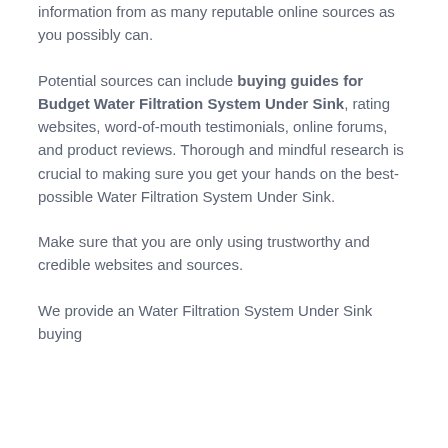information from as many reputable online sources as you possibly can.
Potential sources can include buying guides for Budget Water Filtration System Under Sink, rating websites, word-of-mouth testimonials, online forums, and product reviews. Thorough and mindful research is crucial to making sure you get your hands on the best-possible Water Filtration System Under Sink.
Make sure that you are only using trustworthy and credible websites and sources.
We provide an Water Filtration System Under Sink buying